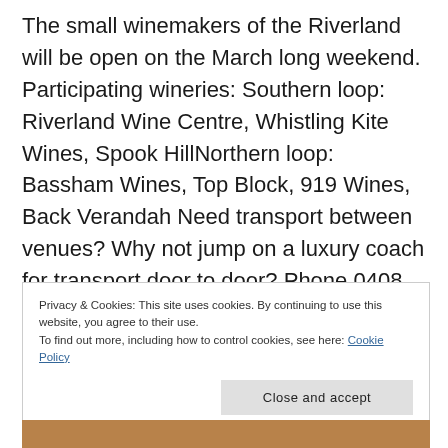The small winemakers of the Riverland will be open on the March long weekend. Participating wineries: Southern loop: Riverland Wine Centre, Whistling Kite Wines, Spook HillNorthern loop: Bassham Wines, Top Block, 919 Wines, Back Verandah Need transport between venues? Why not jump on a luxury coach for transport door to door? Phone 0408 855 272 …
Privacy & Cookies: This site uses cookies. By continuing to use this website, you agree to their use.
To find out more, including how to control cookies, see here: Cookie Policy
Close and accept
[Figure (photo): Partial photo visible at bottom of page, appears to show a person]